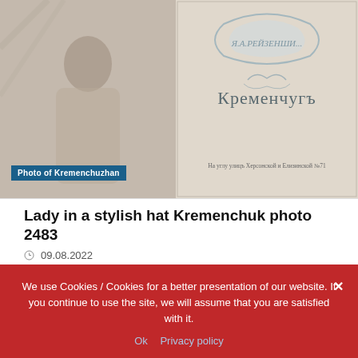[Figure (photo): Black and white historical photo of a person (Kremenchuzhan) in white clothing, seated]
Photo of Kremenchuzhan
[Figure (photo): Decorative cover or sign with Cyrillic text referencing Kremenchug (Кременчугъ) with ornamental design]
Lady in a stylish hat Kremenchuk photo 2483
09.08.2022
[Figure (photo): Black and white historical photo of women performing gymnastics or dance in a gymnasium]
We use Cookies / Cookies for a better presentation of our website. If you continue to use the site, we will assume that you are satisfied with it.
Ok   Privacy policy